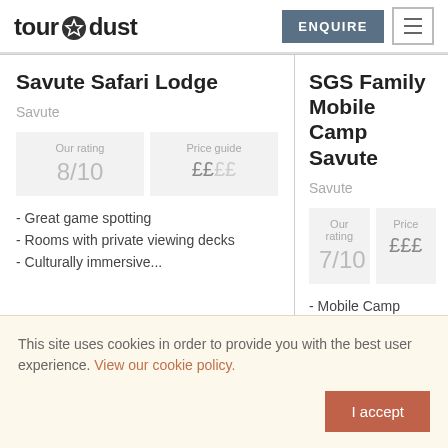tour dust | ENQUIRE
Savute Safari Lodge
Savute
Our rating 8/10 | Price guide ££££
- Great game spotting
- Rooms with private viewing decks
- Culturally immersive...
SGS Family Mobile Camp Savute
Savute
Our rating 7/10 | Price guide £££
- Mobile Camp
- Interconnecting Family Te
- Ensuite Bush Shower & L
- Fully Serviced Camp
This site uses cookies in order to provide you with the best user experience. View our cookie policy.